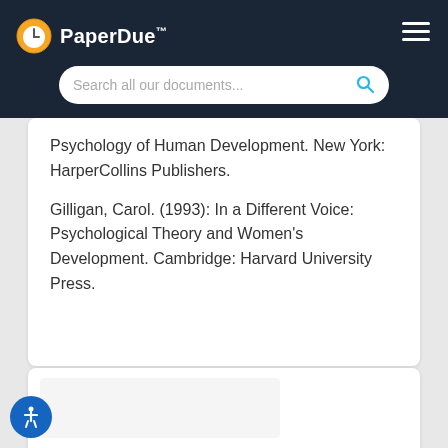PaperDue™
Psychology of Human Development. New York: HarperCollins Publishers.
Gilligan, Carol. (1993): In a Different Voice: Psychological Theory and Women's Development. Cambridge: Harvard University Press.
[Figure (screenshot): Partial screenshot of a document page preview card at the bottom of the screen]